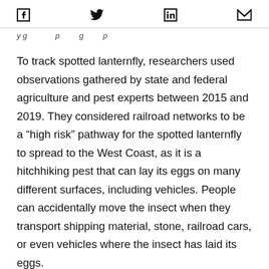[Facebook] [Twitter] [LinkedIn] [Email]
y g p g p
To track spotted lanternfly, researchers used observations gathered by state and federal agriculture and pest experts between 2015 and 2019. They considered railroad networks to be a “high risk” pathway for the spotted lanternfly to spread to the West Coast, as it is a hitchhiking pest that can lay its eggs on many different surfaces, including vehicles. People can accidentally move the insect when they transport shipping material, stone, railroad cars, or even vehicles where the insect has laid its eggs.
“The...